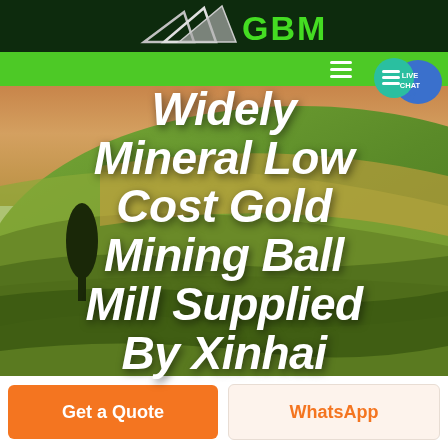GBM
[Figure (logo): GBM logo with white arrow/chevron shapes on dark green background with green GBM text]
[Figure (screenshot): Website navigation bar in bright green with hamburger menu icon and Live Chat button with chat bubble icon on the right]
Widely Mineral Low Cost Gold Mining Ball Mill Supplied By Xinhai
[Figure (photo): Aerial view of rolling agricultural fields with warm golden and green hues, a single dark tree silhouette on the left, used as hero background image]
Get a Quote
WhatsApp